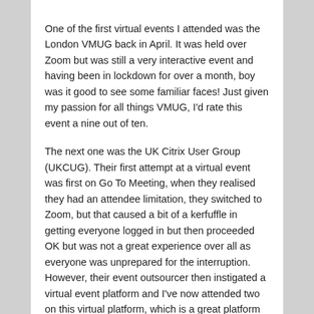One of the first virtual events I attended was the London VMUG back in April. It was held over Zoom but was still a very interactive event and having been in lockdown for over a month, boy was it good to see some familiar faces! Just given my passion for all things VMUG, I'd rate this event a nine out of ten.
The next one was the UK Citrix User Group (UKCUG). Their first attempt at a virtual event was first on Go To Meeting, when they realised they had an attendee limitation, they switched to Zoom, but that caused a bit of a kerfuffle in getting everyone logged in but then proceeded OK but was not a great experience over all as everyone was unprepared for the interruption. However, their event outsourcer then instigated a virtual event platform and I've now attended two on this virtual platform, which is a great platform from CrowdComms that allows for great interaction and is a solid platform. Their autumn meeting was held just the other week and I'd rate the overall experience as an eight out of ten.